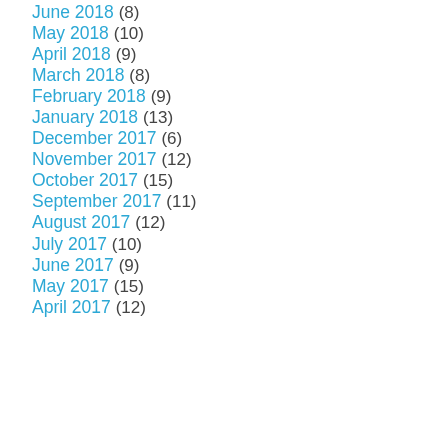June 2018 (8)
May 2018 (10)
April 2018 (9)
March 2018 (8)
February 2018 (9)
January 2018 (13)
December 2017 (6)
November 2017 (12)
October 2017 (15)
September 2017 (11)
August 2017 (12)
July 2017 (10)
June 2017 (9)
May 2017 (15)
April 2017 (12)